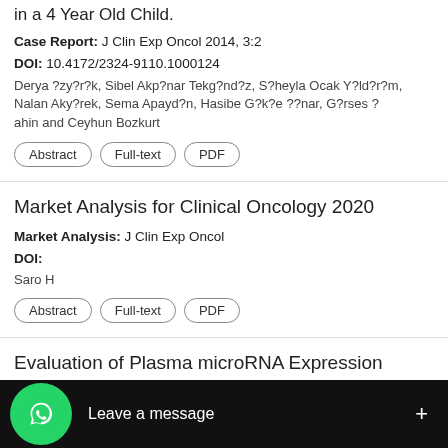in a 4 Year Old Child.
Case Report: J Clin Exp Oncol 2014, 3:2
DOI: 10.4172/2324-9110.1000124
Derya ?zy?r?k, Sibel Akp?nar Tekg?nd?z, S?heyla Ocak Y?ld?r?m, Nalan Aky?rek, Sema Apayd?n, Hasibe G?k?e ??nar, G?rses ?ahin and Ceyhun Bozkurt
Abstract | Full-text | PDF
Market Analysis for Clinical Oncology 2020
Market Analysis: J Clin Exp Oncol
DOI:
Saro H
Abstract | Full-text | PDF
Evaluation of Plasma microRNA Expression Levels in Early Diagnosis of Colorectal Cancer
Research Article: J Clin Exp Oncol 2014, 3:1
DOI: 10.4172/2324-9110.1000119
...ay Balc?, Aysegul Gorur, Hatic...az, Ramazan Gundogdu, Mus...